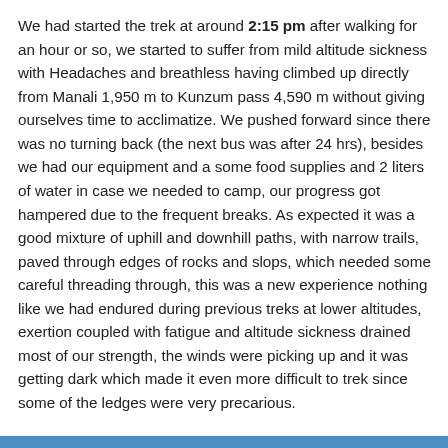We had started the trek at around 2:15 pm after walking for an hour or so, we started to suffer from mild altitude sickness with Headaches and breathless having climbed up directly from Manali 1,950 m to Kunzum pass 4,590 m without giving ourselves time to acclimatize. We pushed forward since there was no turning back (the next bus was after 24 hrs), besides we had our equipment and a some food supplies and 2 liters of water in case we needed to camp, our progress got hampered due to the frequent breaks. As expected it was a good mixture of uphill and downhill paths, with narrow trails, paved through edges of rocks and slops, which needed some careful threading through, this was a new experience nothing like we had endured during previous treks at lower altitudes, exertion coupled with fatigue and altitude sickness drained most of our strength, the winds were picking up and it was getting dark which made it even more difficult to trek since some of the ledges were very precarious.